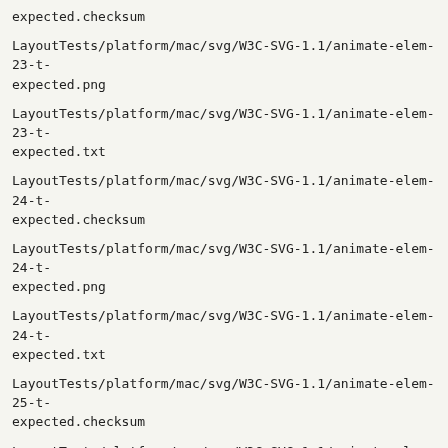expected.checksum
LayoutTests/platform/mac/svg/W3C-SVG-1.1/animate-elem-23-t-expected.png
LayoutTests/platform/mac/svg/W3C-SVG-1.1/animate-elem-23-t-expected.txt
LayoutTests/platform/mac/svg/W3C-SVG-1.1/animate-elem-24-t-expected.checksum
LayoutTests/platform/mac/svg/W3C-SVG-1.1/animate-elem-24-t-expected.png
LayoutTests/platform/mac/svg/W3C-SVG-1.1/animate-elem-24-t-expected.txt
LayoutTests/platform/mac/svg/W3C-SVG-1.1/animate-elem-25-t-expected.checksum
LayoutTests/platform/mac/svg/W3C-SVG-1.1/animate-elem-25-t-expected.png
LayoutTests/platform/mac/svg/W3C-SVG-1.1/animate-elem-25-t-expected.txt
LayoutTests/platform/mac/svg/W3C-SVG-1.1/animate-elem-26-t-expected.checksum